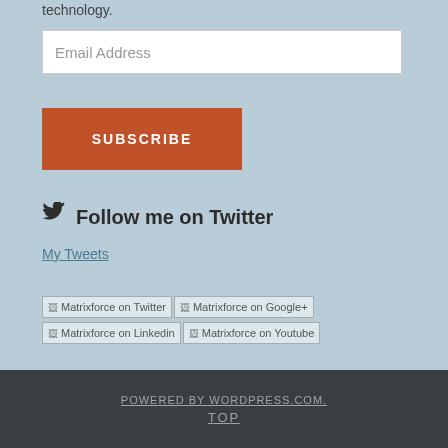technology.
Email Address
SUBSCRIBE
Follow me on Twitter
My Tweets
[Figure (other): Matrixforce on Twitter social icon placeholder image]
[Figure (other): Matrixforce on Google+ social icon placeholder image]
[Figure (other): Matrixforce on Linkedin social icon placeholder image]
[Figure (other): Matrixforce on Youtube social icon placeholder image]
POWERED BY WORDPRESS.COM. TOP